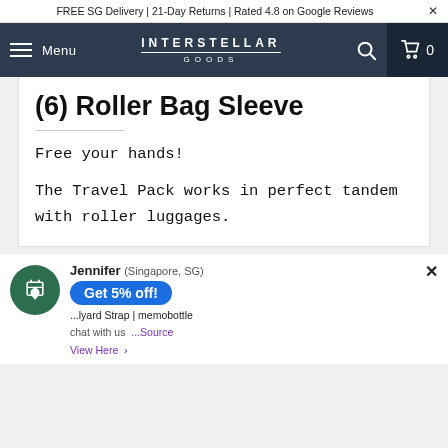FREE SG Delivery | 21-Day Returns | Rated 4.8 on Google Reviews ×
Menu  INTERSTELLAR GOODS  🔍  🛒 0
(6) Roller Bag Sleeve
Free your hands!
The Travel Pack works in perfect tandem with roller luggages.
Jennifer (Singapore, SG)
Get 5% off!
...lyard Strap | memobottle
chat with us ...Source
View Here →